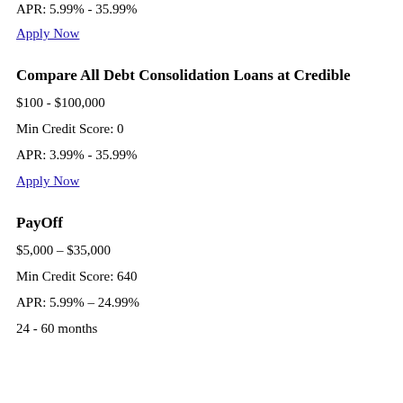APR: 5.99% - 35.99%
Apply Now
Compare All Debt Consolidation Loans at Credible
$100 - $100,000
Min Credit Score: 0
APR: 3.99% - 35.99%
Apply Now
PayOff
$5,000 – $35,000
Min Credit Score: 640
APR: 5.99% – 24.99%
24 - 60 months